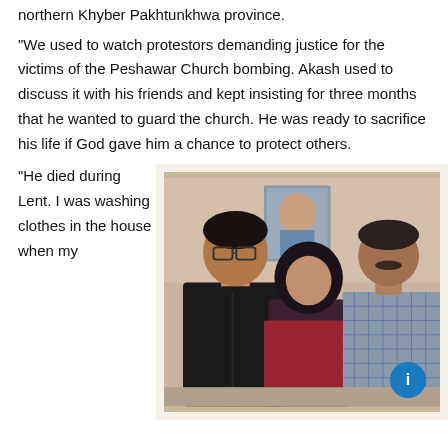northern Khyber Pakhtunkhwa province.
“We used to watch protestors demanding justice for the victims of the Peshawar Church bombing. Akash used to discuss it with his friends and kept insisting for three months that he wanted to guard the church. He was ready to sacrifice his life if God gave him a chance to protect others.
“He died during Lent. I was washing clothes in the house when my
[Figure (photo): Three people standing together indoors: a young man with glasses in a black jacket on the left, a woman in the middle wearing a dark hijab, and an older man in a checked blazer on the right. A framed portrait photo is visible on the wall behind them.]